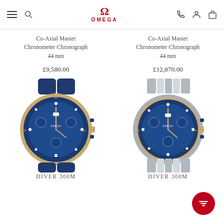OMEGA
Co-Axial Master Chronometer Chronograph 44 mm
£9,580.00
Co-Axial Master Chronometer Chronograph 44 mm
£12,870.00
[Figure (photo): Omega Seamaster Diver 300M watch with blue dial and yellow gold accents on blue rubber strap]
[Figure (photo): Omega Seamaster Diver 300M watch with blue dial and yellow gold accents on steel bracelet]
DIVER 300M
DIVER 300M